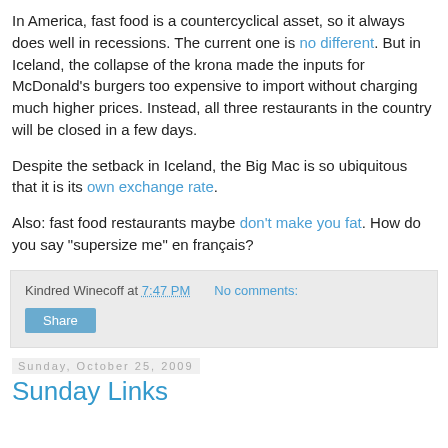In America, fast food is a countercyclical asset, so it always does well in recessions. The current one is no different. But in Iceland, the collapse of the krona made the inputs for McDonald's burgers too expensive to import without charging much higher prices. Instead, all three restaurants in the country will be closed in a few days.
Despite the setback in Iceland, the Big Mac is so ubiquitous that it is its own exchange rate.
Also: fast food restaurants maybe don't make you fat. How do you say "supersize me" en français?
Kindred Winecoff at 7:47 PM   No comments:   Share
Sunday, October 25, 2009
Sunday Links